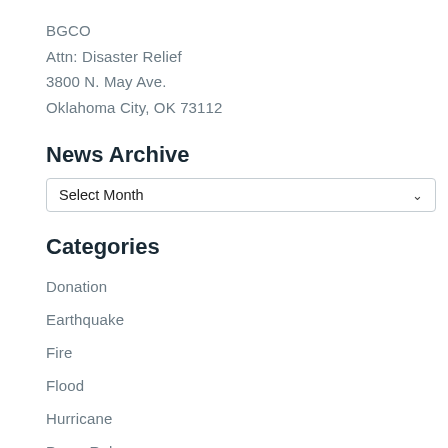BGCO
Attn: Disaster Relief
3800 N. May Ave.
Oklahoma City, OK 73112
News Archive
Select Month
Categories
Donation
Earthquake
Fire
Flood
Hurricane
Press Release
Relief/Aid